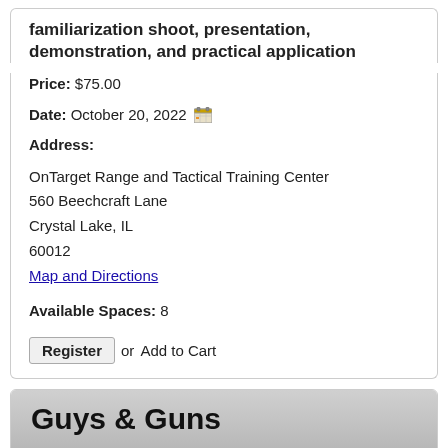familiarization shoot, presentation, demonstration, and practical application
Price: $75.00
Date: October 20, 2022
Address:
OnTarget Range and Tactical Training Center
560 Beechcraft Lane
Crystal Lake, IL
60012
Map and Directions
Available Spaces: 8
Register or Add to Cart
Guys & Guns
This is the all-inclusive, introductory handgun class for